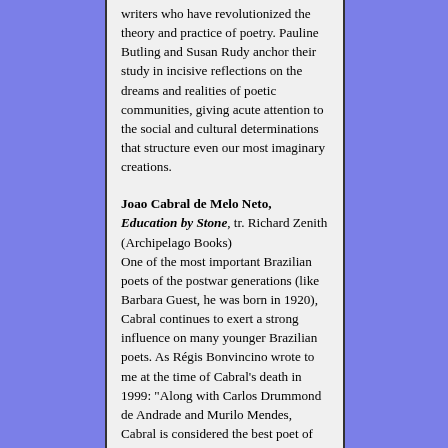writers who have revolutionized the theory and practice of poetry. Pauline Butling and Susan Rudy anchor their study in incisive reflections on the dreams and realities of poetic communities, giving acute attention to the social and cultural determinations that structure even our most imaginary creations.
Joao Cabral de Melo Neto, Education by Stone, tr. Richard Zenith (Archipelago Books) One of the most important Brazilian poets of the postwar generations (like Barbara Guest, he was born in 1920), Cabral continues to exert a strong influence on many younger Brazilian poets. As Régis Bonvincino wrote to me at the time of Cabral's death in 1999: "Along with Carlos Drummond de Andrade and Murilo Mendes, Cabral is considered the best poet of Brazilian Poetry born in the 20's."